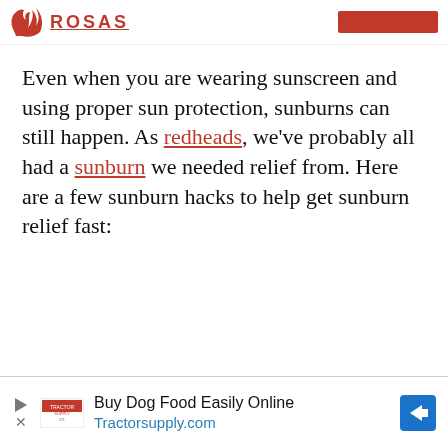[Figure (logo): How to Be a Redhead logo with flame/hair graphic and ROSAS text in red underlined uppercase letters, with a red navigation bar to the right]
Even when you are wearing sunscreen and using proper sun protection, sunburns can still happen. As redheads, we've probably all had a sunburn we needed relief from. Here are a few sunburn hacks to help get sunburn relief fast:
[Figure (screenshot): Advertisement banner: Buy Dog Food Easily Online - Tractorsupply.com, with Tractor Supply Co. logo and blue arrow icon]